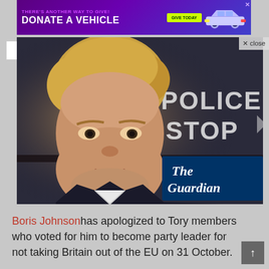[Figure (other): Purple advertisement banner: 'THERE'S ANOTHER WAY TO GIVE! DONATE A VEHICLE' with 'GIVE TODAY' button and white car illustration]
[Figure (photo): Boris Johnson in foreground with blond hair and dark suit, background shows 'POLICE STOP' sign text. The Guardian logo overlay in bottom right corner. A 'close' button overlays the top right.]
Boris Johnson has apologized to Tory members who voted for him to become party leader for not taking Britain out of the EU on 31 October.